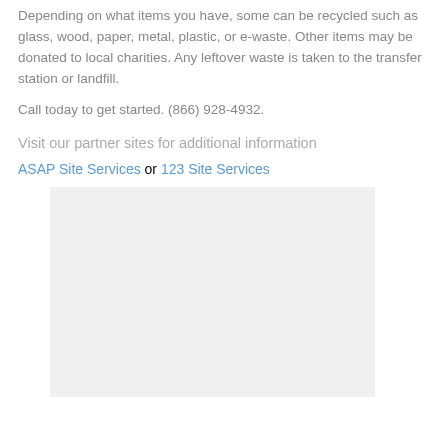Depending on what items you have, some can be recycled such as glass, wood, paper, metal, plastic, or e-waste. Other items may be donated to local charities. Any leftover waste is taken to the transfer station or landfill.
Call today to get started. (866) 928-4932.
Visit our partner sites for additional information
ASAP Site Services or 123 Site Services
[Figure (photo): A large light gray placeholder image block]